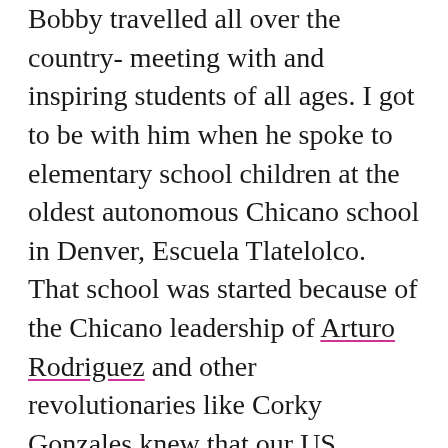Bobby travelled all over the country- meeting with and inspiring students of all ages. I got to be with him when he spoke to elementary school children at the oldest autonomous Chicano school in Denver, Escuela Tlatelolco. That school was started because of the Chicano leadership of Arturo Rodriguez and other revolutionaries like Corky Gonzales knew that our US schools don't teach us about us because they are invested in making Chicanos/Latinos think that we are substandard. When in fact, we are descendants of an incredible lineage including the ones who developed the concept of zero.
I got to be with him when he spoke to elementary school children at the oldest autonomous Chicano school...